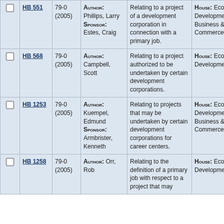|  | Bill | Session | Author/Sponsor | Caption | Committee |
| --- | --- | --- | --- | --- | --- |
| ☐ | HB 551 | 79-0 (2005) | Author: Phillips, Larry
Sponsor: Estes, Craig | Relating to a project of a development corporation in connection with a primary job. | House: Economic Development
Senate: Business & Commerce |
| ☐ | HB 568 | 79-0 (2005) | Author: Campbell, Scott | Relating to a project authorized to be undertaken by certain development corporations. | House: Economic Development |
| ☐ | HB 1253 | 79-0 (2005) | Author: Kuempel, Edmund
Sponsor: Armbrister, Kenneth | Relating to projects that may be undertaken by certain development corporations for career centers. | House: Economic Development
Senate: Business & Commerce |
| ☐ | HB 1258 | 79-0 (2005) | Author: Orr, Rob | Relating to the definition of a primary job with respect to a project that may | House: Economic Development |